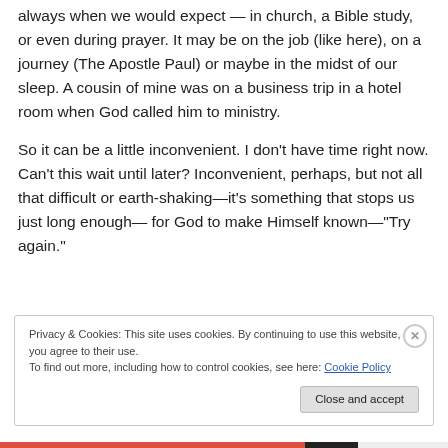always when we would expect — in church, a Bible study, or even during prayer. It may be on the job (like here), on a journey (The Apostle Paul) or maybe in the midst of our sleep. A cousin of mine was on a business trip in a hotel room when God called him to ministry.
So it can be a little inconvenient. I don't have time right now. Can't this wait until later? Inconvenient, perhaps, but not all that difficult or earth-shaking—it's something that stops us just long enough— for God to make Himself known—“Try again.”
Privacy & Cookies: This site uses cookies. By continuing to use this website, you agree to their use.
To find out more, including how to control cookies, see here: Cookie Policy